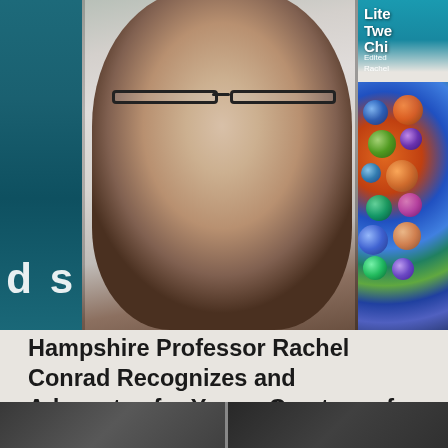[Figure (photo): Collage image showing a smiling woman with short dark hair and glasses in the center, flanked by a teal book cover on the left showing partial text 'ds' and a book cover on the right showing 'Lite Twe Chi Edited Rachel' with colorful marbles/spheres on the cover. The woman is Rachel Conrad, a Hampshire College professor.]
Hampshire Professor Rachel Conrad Recognizes and Advocates for Young Creators of Literature
READ MORE